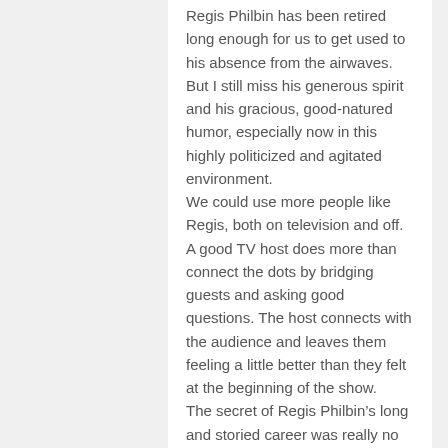Regis Philbin has been retired long enough for us to get used to his absence from the airwaves. But I still miss his generous spirit and his gracious, good-natured humor, especially now in this highly politicized and agitated environment.
We could use more people like Regis, both on television and off.
A good TV host does more than connect the dots by bridging guests and asking good questions. The host connects with the audience and leaves them feeling a little better than they felt at the beginning of the show.
The secret of Regis Philbin’s long and storied career was really no secret. He didn’t come on the set as an actor. He just played himself and he played the part very well for a very long time. In doing so, he made us laugh and he made us feel good about ourselves and about the future.
And yes, as contestants on “Who Wants to